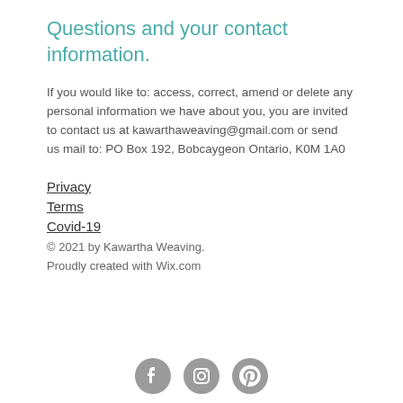Questions and your contact information.
If you would like to: access, correct, amend or delete any personal information we have about you, you are invited to contact us at kawarthaweaving@gmail.com or send us mail to: PO Box 192, Bobcaygeon Ontario, K0M 1A0
Privacy
Terms
Covid-19
© 2021 by Kawartha Weaving.
Proudly created with Wix.com
[Figure (illustration): Three social media icons: Facebook, Instagram, Pinterest — circular grey buttons]